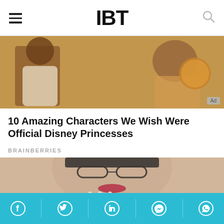IBT
[Figure (illustration): Animated/cartoon Disney characters scene — dark-skinned female character in white outfit with other cartoon figures, warm brown and gold tones, with an Ad badge in bottom right corner]
10 Amazing Characters We Wish Were Official Disney Princesses
BRAINBERRIES
[Figure (photo): Close-up selfie of a woman with short dark hair, cat-eye glasses, pearl earring and pearl necklace, blue-green eyes, red lipstick, smiling, wearing a light pink/mauve top, beige/cream background]
Social share bar with Facebook, Twitter, LinkedIn, Messenger, WhatsApp icons